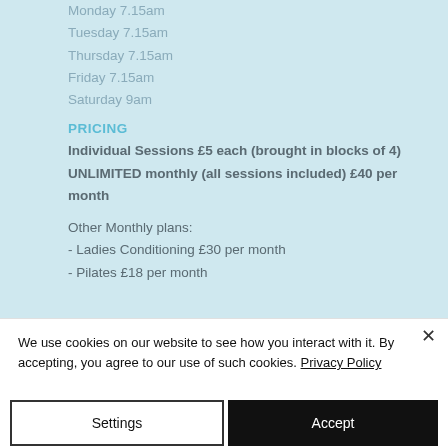Monday 7.15am
Tuesday 7.15am
Thursday 7.15am
Friday 7.15am
Saturday 9am
PRICING
Individual Sessions £5 each (brought in blocks of 4)
UNLIMITED monthly (all sessions included) £40 per month
Other Monthly plans:
- Ladies Conditioning £30 per month
- Pilates £18 per month
We use cookies on our website to see how you interact with it. By accepting, you agree to our use of such cookies. Privacy Policy
Settings
Accept